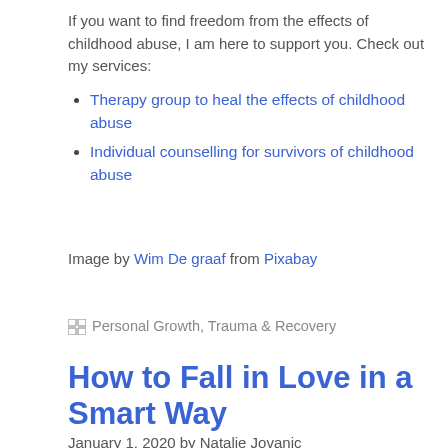If you want to find freedom from the effects of childhood abuse, I am here to support you. Check out my services:
Therapy group to heal the effects of childhood abuse
Individual counselling for survivors of childhood abuse
Image by Wim De graaf from Pixabay
Personal Growth, Trauma & Recovery
How to Fall in Love in a Smart Way
January 1, 2020 by Natalie Jovanic